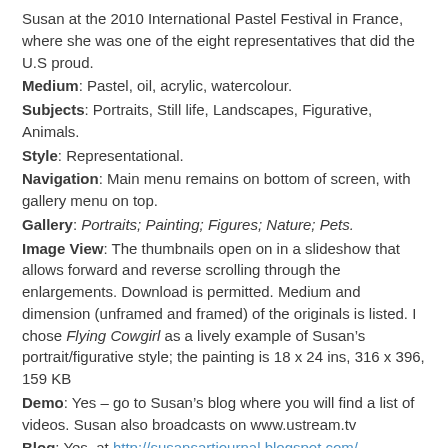Susan at the 2010 International Pastel Festival in France, where she was one of the eight representatives that did the U.S proud.
Medium: Pastel, oil, acrylic, watercolour.
Subjects: Portraits, Still life, Landscapes, Figurative, Animals.
Style: Representational.
Navigation: Main menu remains on bottom of screen, with gallery menu on top.
Gallery: Portraits; Painting; Figures; Nature; Pets.
Image View: The thumbnails open on in a slideshow that allows forward and reverse scrolling through the enlargements. Download is permitted. Medium and dimension (unframed and framed) of the originals is listed. I chose Flying Cowgirl as a lively example of Susan’s portrait/figurative style; the painting is 18 x 24 ins, 316 x 396, 159 KB
Demo: Yes – go to Susan’s blog where you will find a list of videos. Susan also broadcasts on www.ustream.tv
Blog: Yes, at http://susansartjournal.blogspot.com/
EBay/Flickr: No.